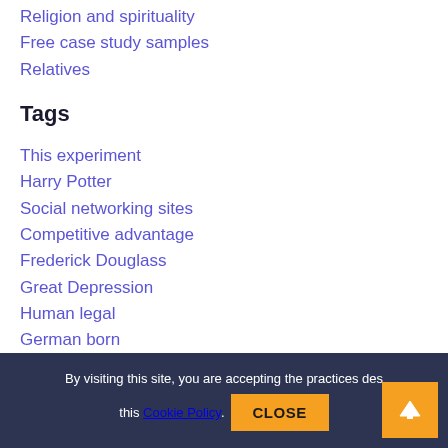Religion and spirituality
Free case study samples
Relatives
Tags
This experiment
Harry Potter
Social networking sites
Competitive advantage
Frederick Douglass
Great Depression
Human legal
German born
Open public
Black community
Police officers
By visiting this site, you are accepting the practices des this Cookie Policy. CLOSE